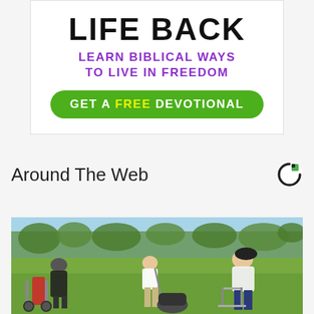[Figure (infographic): Advertisement banner with text 'LIFE BACK', 'LEARN BIBLICAL WAYS TO LIVE IN FREEDOM', and a green button reading 'GET A FREE DEVOTIONAL']
Around The Web
[Figure (photo): Outdoor golf course photo showing three people on a green fairway with golf bags and equipment on a sunny day]